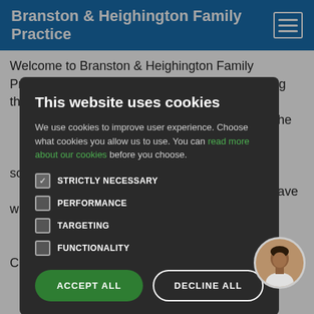Branston & Heighington Family Practice
Welcome to Branston & Heighington Family Practice. We are a friendly family practice serving the …m the … the sole …e have with …re CCG, South …village for …y. The …wn car… park… …and a disabled patient toilet.
This website uses cookies
We use cookies to improve user experience. Choose what cookies you allow us to use. You can read more about our cookies before you choose.
STRICTLY NECESSARY
PERFORMANCE
TARGETING
FUNCTIONALITY